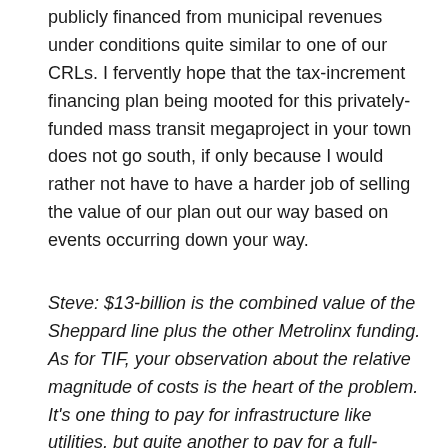publicly financed from municipal revenues under conditions quite similar to one of our CRLs. I fervently hope that the tax-increment financing plan being mooted for this privately-funded mass transit megaproject in your town does not go south, if only because I would rather not have to have a harder job of selling the value of our plan out our way based on events occurring down your way.
Steve: $13-billion is the combined value of the Sheppard line plus the other Metrolinx funding. As for TIF, your observation about the relative magnitude of costs is the heart of the problem. It's one thing to pay for infrastructure like utilities, but quite another to pay for a full-blown subway. Moreover, a subway benefits not just the